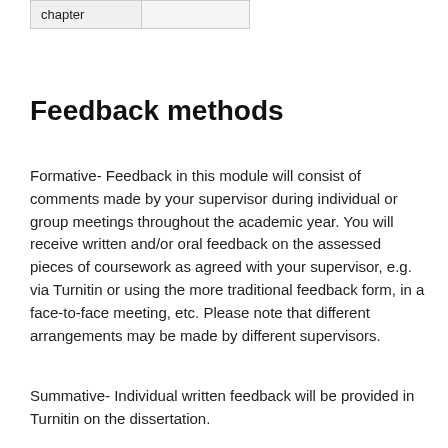| chapter |  |
Feedback methods
Formative- Feedback in this module will consist of comments made by your supervisor during individual or group meetings throughout the academic year. You will receive written and/or oral feedback on the assessed pieces of coursework as agreed with your supervisor, e.g. via Turnitin or using the more traditional feedback form, in a face-to-face meeting, etc. Please note that different arrangements may be made by different supervisors.
Summative- Individual written feedback will be provided in Turnitin on the dissertation.